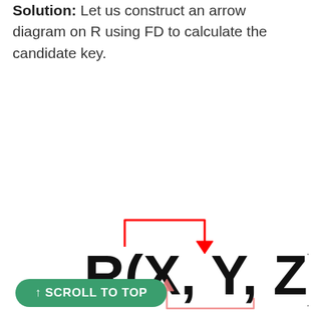Solution: Let us construct an arrow diagram on R using FD to calculate the candidate key.
[Figure (engineering-diagram): Arrow diagram showing functional dependency from X to Y in relation R(X, Y, Z). A red rectangular arrow goes from X up and across to Y (pointing down), and a partial pink/light-red arrow curves from Z area back toward X area (pointing up). The large text reads R(X, Y, Z).]